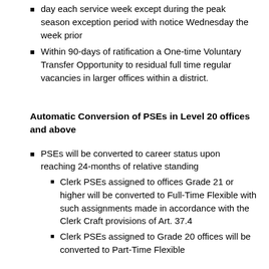day each service week except during the peak season exception period with notice Wednesday the week prior
Within 90-days of ratification a One-time Voluntary Transfer Opportunity to residual full time regular vacancies in larger offices within a district.
Automatic Conversion of PSEs in Level 20 offices and above
PSEs will be converted to career status upon reaching 24-months of relative standing
Clerk PSEs assigned to offices Grade 21 or higher will be converted to Full-Time Flexible with such assignments made in accordance with the Clerk Craft provisions of Art. 37.4
Clerk PSEs assigned to Grade 20 offices will be converted to Part-Time Flexible